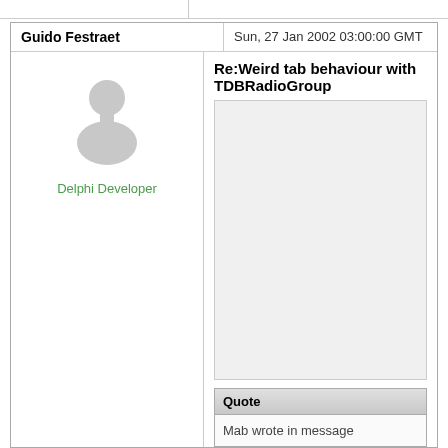Guido Festraet
Sun, 27 Jan 2002 03:00:00 GMT
[Figure (illustration): Generic user avatar silhouette in light gray]
Delphi Developer
Re:Weird tab behaviour with TDBRadioGroup
Quote
Mab wrote in message